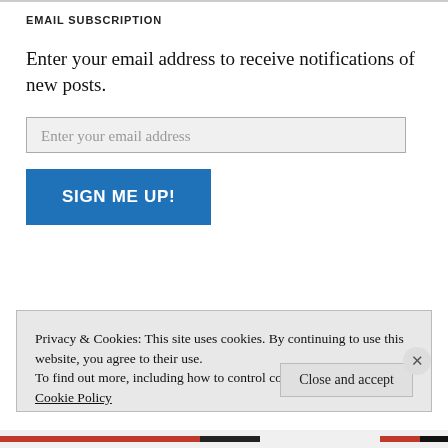EMAIL SUBSCRIPTION
Enter your email address to receive notifications of new posts.
Enter your email address
SIGN ME UP!
Privacy & Cookies: This site uses cookies. By continuing to use this website, you agree to their use.
To find out more, including how to control cookies, see here:
Cookie Policy
Close and accept